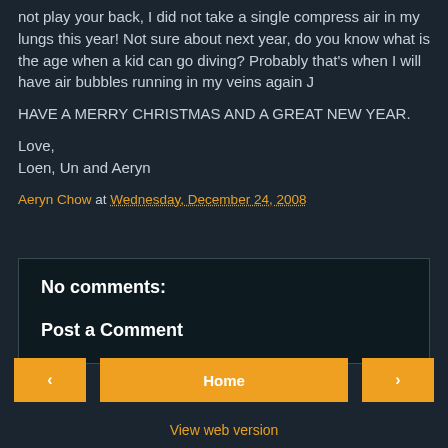not play your back, I did not take a single compress air in my lungs this year! Not sure about next year, do you know what is the age when a kid can go diving? Probably that's when I will have air bubbles running in my veins again J
HAVE A MERRY CHRISTMAS AND A GREAT NEW YEAR.
Love,
Loen, Un and Aeryn
Aeryn Chow at Wednesday, December 24, 2008
No comments:
Post a Comment
< Home > View web version